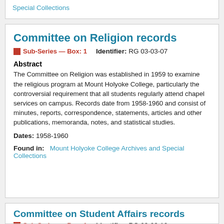Special Collections
Committee on Religion records
Sub-Series — Box: 1   Identifier: RG 03-03-07
Abstract
The Committee on Religion was established in 1959 to examine the religious program at Mount Holyoke College, particularly the controversial requirement that all students regularly attend chapel services on campus. Records date from 1958-1960 and consist of minutes, reports, correspondence, statements, articles and other publications, memoranda, notes, and statistical studies.
Dates: 1958-1960
Found in:  Mount Holyoke College Archives and Special Collections
Committee on Student Affairs records
Sub-Series — Box: 1   Identifier: RG 03-03-10